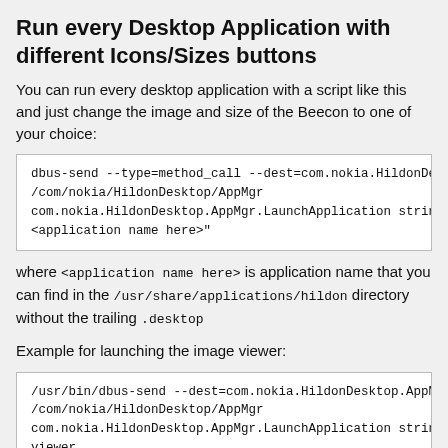Run every Desktop Application with different Icons/Sizes buttons
You can run every desktop application with a script like this and just change the image and size of the Beecon to one of your choice:
dbus-send --type=method_call --dest=com.nokia.HildonDesktop.A
/com/nokia/HildonDesktop/AppMgr
com.nokia.HildonDesktop.AppMgr.LaunchApplication string:"
<application name here>"
where <application name here> is application name that you can find in the /usr/share/applications/hildon directory without the trailing .desktop
Example for launching the image viewer:
/usr/bin/dbus-send --dest=com.nokia.HildonDesktop.AppMgr
/com/nokia/HildonDesktop/AppMgr
com.nokia.HildonDesktop.AppMgr.LaunchApplication string:image
viewer
See EXAMPLE Here
Run Application in xterm with different Icons/Sizes buttons